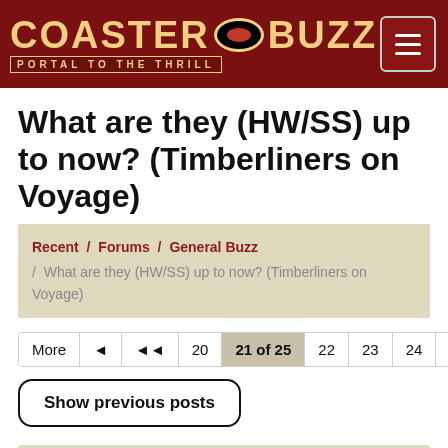[Figure (logo): CoasterBuzz logo with 'Portal to the Thrill' subtitle on dark red header bar with hamburger menu button]
What are they (HW/SS) up to now? (Timberliners on Voyage)
Recent / Forums / General Buzz / What are they (HW/SS) up to now? (Timberliners on Voyage)
More | |◄◄ | ◄◄ | 20 | 21 of 25 | 22 | 23 | 24 | ►► | ►
Show previous posts
DantheCoasterman